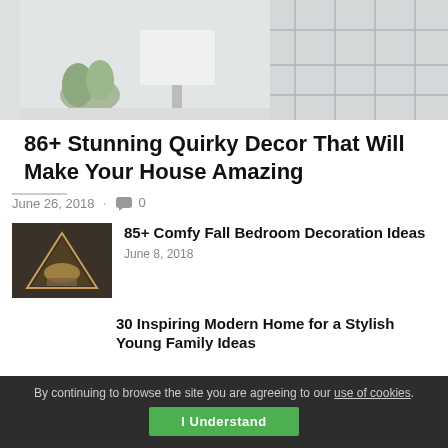[Figure (photo): Interior room photo showing a white lamp, greenery, and large grid window — light, minimal decor scene]
86+ Stunning Quirky Decor That Will Make Your House Amazing
June 26, 2018  ·  0
[Figure (photo): Small thumbnail of a cozy bedroom scene with warm triangular lighting]
85+ Comfy Fall Bedroom Decoration Ideas
June 8, 2018
30 Inspiring Modern Home for a Stylish Young Family Ideas
By continuing to browse the site you are agreeing to our use of cookies. I Understand